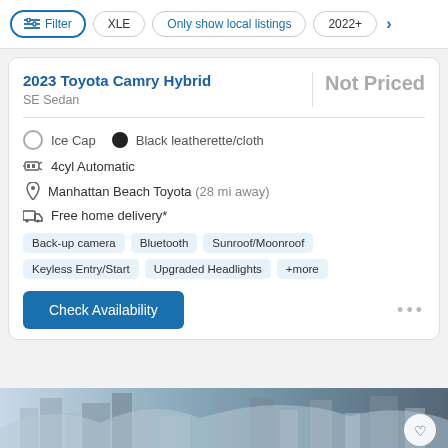Filter | XLE | Only show local listings | 2022+
2023 Toyota Camry Hybrid
SE Sedan
Not Priced
Ice Cap  • Black leatherette/cloth
4cyl Automatic
Manhattan Beach Toyota (28 mi away)
Free home delivery*
Back-up camera | Bluetooth | Sunroof/Moonroof | Keyless Entry/Start | Upgraded Headlights | +more
Check Availability
[Figure (photo): Bottom strip showing a city/urban scene photo]